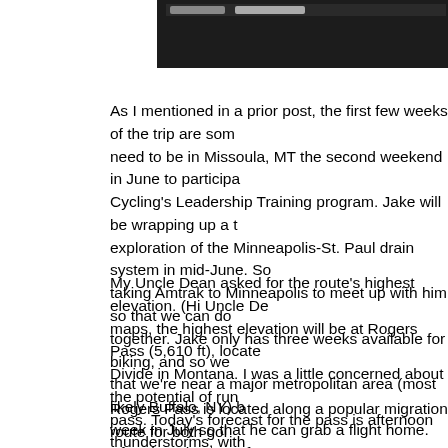[Figure (photo): Partial image strip at top of page, showing a dark/black image with some interface elements visible at top edge]
As I mentioned in a prior post, the first few weeks of the trip are som need to be in Missoula, MT the second weekend in June to participa Cycling's Leadership Training program. Jake will be wrapping up a t exploration of the Minneapolis-St. Paul drain system in mid-June. So taking Amtrak to Minneapolis to meet up with him so that we can do together. Jake only has three weeks available for biking, and so we that we're near a major metropolitan area (most likely Buffalo, NY) b week in July so that he can grab a flight home. After that, the rest o unconstrained by schedules.
My Uncle Dean asked for the route's highest elevation. (Hi Uncle De maps, the highest elevation will be at Rogers Pass (5,610 ft), locate Divide in Montana. I was a little concerned about the potential of run pass. Today's forecast for the pass is afternoon thunderstorms, with low of 35°, and this live webcam (at 5,406 ft on the highway leading indicates that the route is free of snow. So, I think the pass will be in
Rogers Pass is located along a popular migration route for both gol The migration is in March and April, so I unfortunately will have miss birds. Interesting tidbit: The Pass holds the record for the coldest ter outside of Alaska--the temperature fell to -70°F (-57°C) in 1954. Hol